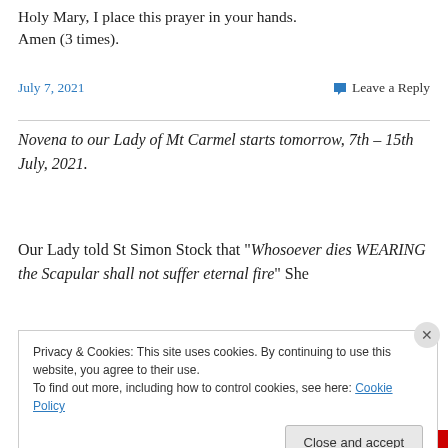Holy Mary, I place this prayer in your hands.
Amen (3 times).
July 7, 2021   Leave a Reply
Novena to our Lady of Mt Carmel starts tomorrow, 7th – 15th July, 2021.
Our Lady told St Simon Stock that “Whosoever dies WEARING the Scapular shall not suffer eternal fire” She
Privacy & Cookies: This site uses cookies. By continuing to use this website, you agree to their use.
To find out more, including how to control cookies, see here: Cookie Policy
Close and accept